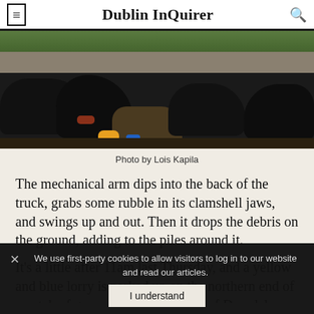Dublin InQuirer
[Figure (photo): Piles of black bin bags and construction rubble/debris dumped on a patch of open ground, outdoor scene with vegetation in background.]
Photo by Lois Kapila
The mechanical arm dips into the back of the truck, grabs some rubble in its clamshell jaws, and swings up and out. Then it drops the debris on the ground, adding to the piles around it.
It's a little after 11am last Thursday, and a yellow and blue lorry is parked up on the northern end of a patch of green space to the west of Darndale Park, just north of Belcamp
We use first-party cookies to allow visitors to log in to our website and read our articles.
I understand